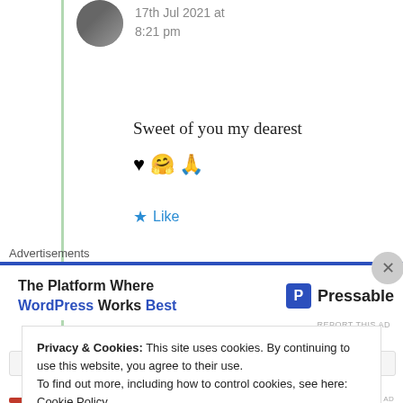17th Jul 2021 at 8:21 pm
Sweet of you my dearest ♥ 🤗 🙏
★ Like
Advertisements
[Figure (screenshot): Pressable advertisement: The Platform Where WordPress Works Best]
REPORT THIS AD
Privacy & Cookies: This site uses cookies. By continuing to use this website, you agree to their use. To find out more, including how to control cookies, see here: Cookie Policy
Close and accept